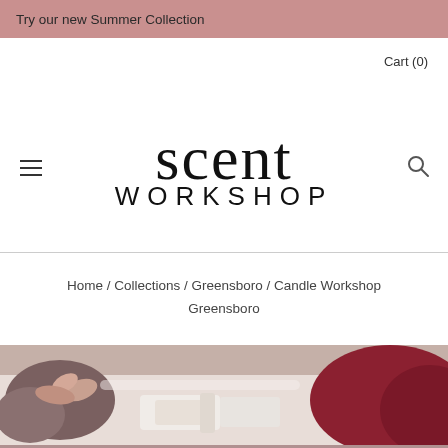Try our new Summer Collection
Cart (0)
[Figure (logo): Scent Workshop logo: large serif 'scent' with 'WORKSHOP' in spaced sans-serif capitals below]
Home / Collections / Greensboro / Candle Workshop Greensboro
[Figure (photo): Close-up photo of hands working on candle making with craft materials on a table, warm tones]